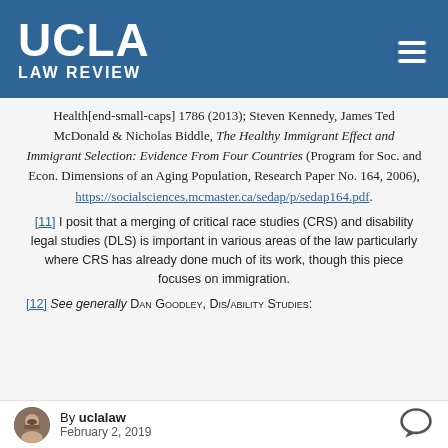UCLA LAW REVIEW
Health[end-small-caps] 1786 (2013); Steven Kennedy, James Ted McDonald & Nicholas Biddle, The Healthy Immigrant Effect and Immigrant Selection: Evidence From Four Countries (Program for Soc. and Econ. Dimensions of an Aging Population, Research Paper No. 164, 2006), https://socialsciences.mcmaster.ca/sedap/p/sedap164.pdf.
[11] I posit that a merging of critical race studies (CRS) and disability legal studies (DLS) is important in various areas of the law particularly where CRS has already done much of its work, though this piece focuses on immigration.
[12] See generally [small-caps]Dan Goodley, Dis/ability Studies:
By uclalaw February 2, 2019